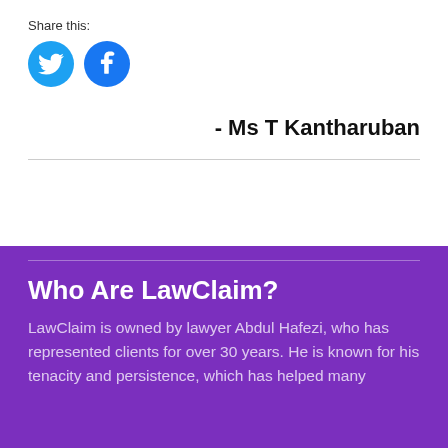Share this:
[Figure (illustration): Two circular social media icons: Twitter (light blue) and Facebook (blue)]
- Ms T Kantharuban
Who Are LawClaim?
LawClaim is owned by lawyer Abdul Hafezi, who has represented clients for over 30 years. He is known for his tenacity and persistence, which has helped many